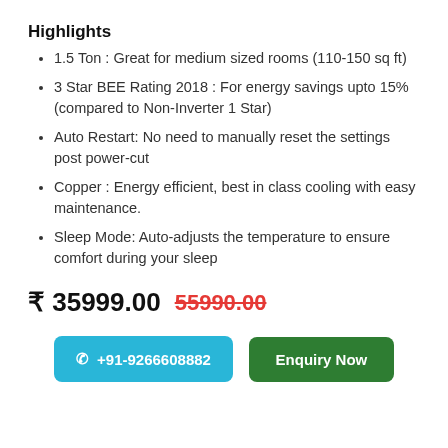Highlights
1.5 Ton : Great for medium sized rooms (110-150 sq ft)
3 Star BEE Rating 2018 : For energy savings upto 15% (compared to Non-Inverter 1 Star)
Auto Restart: No need to manually reset the settings post power-cut
Copper : Energy efficient, best in class cooling with easy maintenance.
Sleep Mode: Auto-adjusts the temperature to ensure comfort during your sleep
₹ 35999.00  55990.00
☎ +91-9266608882   Enquiry Now